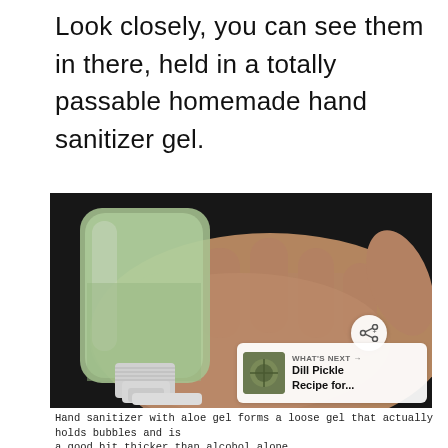Look closely, you can see them in there, held in a totally passable homemade hand sanitizer gel.
[Figure (photo): A hand holding a small green translucent spray bottle of homemade hand sanitizer gel against a dark background. The bottle has a white pump/spray nozzle. A share icon button and a 'What's Next - Dill Pickle Recipe for...' overlay appear in the bottom-right corner.]
Hand sanitizer with aloe gel forms a loose gel that actually holds bubbles and is a good bit thicker than alcohol alone.